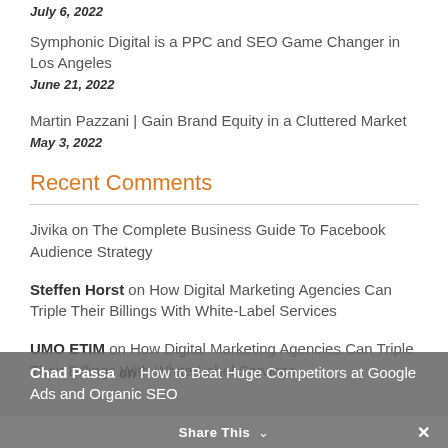July 6, 2022
Symphonic Digital is a PPC and SEO Game Changer in Los Angeles
June 21, 2022
Martin Pazzani | Gain Brand Equity in a Cluttered Market
May 3, 2022
Recent Comments
Jivika on The Complete Business Guide To Facebook Audience Strategy
Steffen Horst on How Digital Marketing Agencies Can Triple Their Billings With White-Label Services
UMO ETIM on How Digital Marketing Agencies Can Triple Their Billings With White-Label Services
Chad Passa on How to Beat Huge Competitors at Google Ads and Organic SEO